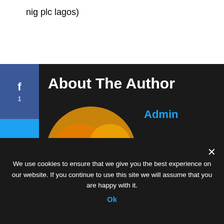nig plc lagos)
About The Author
Admin
[Figure (photo): Circular avatar image showing a silhouetted figure on a road with orange/yellow smoke or fire in the background]
We use cookies to ensure that we give you the best experience on our website. If you continue to use this site we will assume that you are happy with it.
Ok